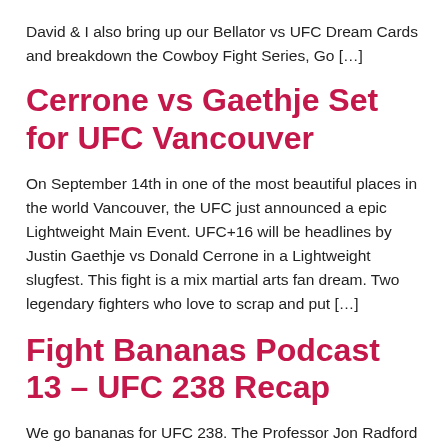David & I also bring up our Bellator vs UFC Dream Cards and breakdown the Cowboy Fight Series, Go […]
Cerrone vs Gaethje Set for UFC Vancouver
On September 14th in one of the most beautiful places in the world Vancouver, the UFC just announced a epic Lightweight Main Event. UFC+16 will be headlines by Justin Gaethje vs Donald Cerrone in a Lightweight slugfest. This fight is a mix martial arts fan dream. Two legendary fighters who love to scrap and put […]
Fight Bananas Podcast 13 – UFC 238 Recap
We go bananas for UFC 238. The Professor Jon Radford & David Van Auken go all in about UFC 238. Cowboy